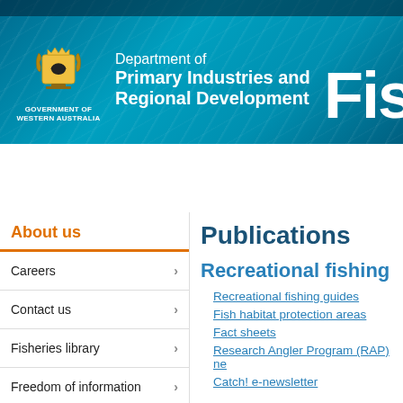[Figure (logo): Government of Western Australia coat of arms logo]
Department of Primary Industries and Regional Development — Government of Western Australia
Fis
Home | Sustainability and environment | Fishing
Home > About us > Publications
About us
Careers
Contact us
Fisheries library
Freedom of information
Glossary
Publications
Recreational fishing
Recreational fishing guides
Fish habitat protection areas
Fact sheets
Research Angler Program (RAP) ne
Catch! e-newsletter